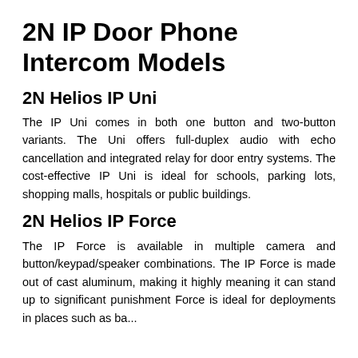2N IP Door Phone Intercom Models
2N Helios IP Uni
The IP Uni comes in both one button and two-button variants. The Uni offers full-duplex audio with echo cancellation and integrated relay for door entry systems. The cost-effective IP Uni is ideal for schools, parking lots, shopping malls, hospitals or public buildings.
2N Helios IP Force
The IP Force is available in multiple camera and button/keypad/speaker combinations. The IP Force is made out of cast aluminum, making it highly meaning it can stand up to significant punishment Force is ideal for deployments in places such as ba...